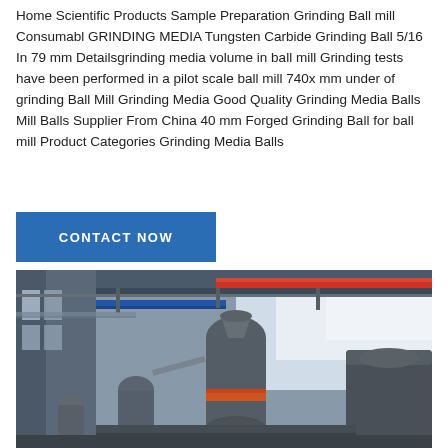Home Scientific Products Sample Preparation Grinding Ball mill Consumabl GRINDING MEDIA Tungsten Carbide Grinding Ball 5/16 In 79 mm Detailsgrinding media volume in ball mill Grinding tests have been performed in a pilot scale ball mill 740x mm under of grinding Ball Mill Grinding Media Good Quality Grinding Media Balls Mill Balls Supplier From China 40 mm Forged Grinding Ball for ball mill Product Categories Grinding Media Balls
[Figure (other): Blue 'CONTACT NOW' button]
[Figure (photo): Industrial ball mill machinery inside a large factory/workshop, showing large cylindrical grinding mill equipment, metal pipes overhead, and industrial building structure with natural light coming through windows.]